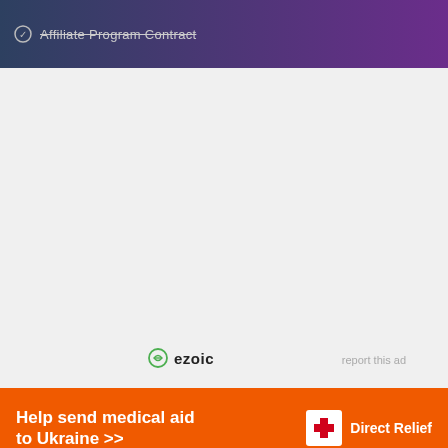Affiliate Program Contract
[Figure (other): Ezoic advertisement placeholder area with ezoic logo and report this ad link]
[Figure (other): Direct Relief orange banner advertisement: Help send medical aid to Ukraine >>]